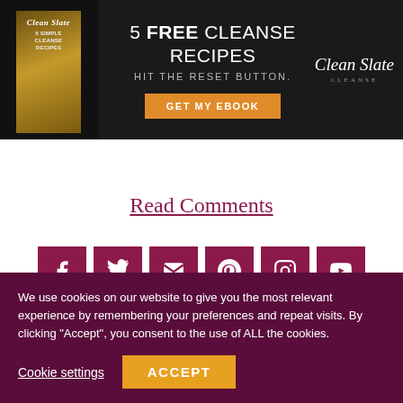[Figure (infographic): Dark banner advertisement for '5 FREE CLEANSE RECIPES - HIT THE RESET BUTTON.' with a book image on the left, orange 'GET MY EBOOK' button, and 'Clean Slate' logo on the right]
Read Comments
[Figure (infographic): Row of six dark red/maroon social media icon buttons: Facebook, Twitter, Email, Pinterest, Instagram, YouTube]
+ Add to Your List
We use cookies on our website to give you the most relevant experience by remembering your preferences and repeat visits. By clicking “Accept”, you consent to the use of ALL the cookies.
Cookie settings
ACCEPT